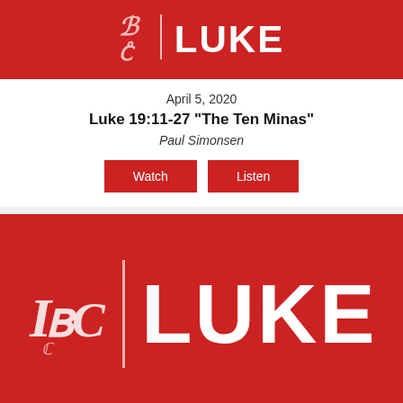[Figure (logo): IBC | LUKE red banner logo (top, partial)]
April 5, 2020
Luke 19:11-27 "The Ten Minas"
Paul Simonsen
[Figure (other): Watch and Listen buttons]
[Figure (logo): IBC | LUKE red banner logo (bottom)]
March 29, 2020
Luke 19:1-10 "The Power of God's Saving Grace"
Gordon Broadbent